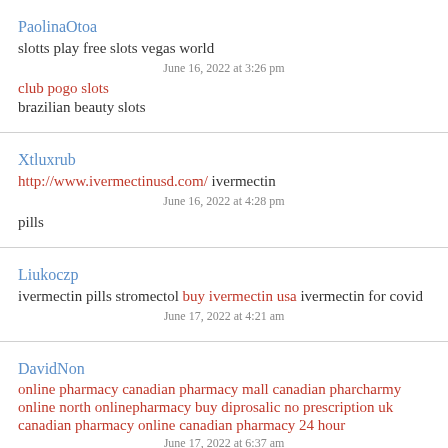PaolinaOtoa
slotts play free slots vegas world
June 16, 2022 at 3:26 pm
club pogo slots
brazilian beauty slots
Xtluxrub
http://www.ivermectinusd.com/ ivermectin pills
June 16, 2022 at 4:28 pm
Liukoczp
ivermectin pills stromectol buy ivermectin usa ivermectin for covid
June 17, 2022 at 4:21 am
DavidNon
online pharmacy canadian pharmacy mall canadian pharcharmy online north onlinepharmacy buy diprosalic no prescription uk canadian pharmacy online canadian pharmacy 24 hour
June 17, 2022 at 6:37 am